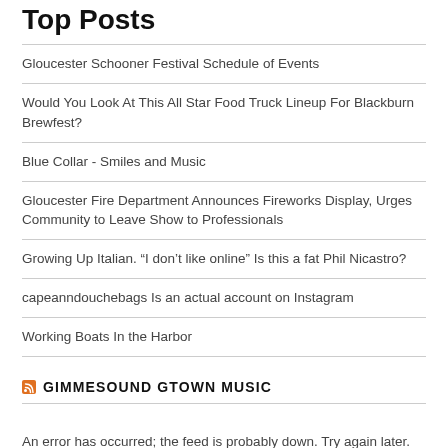Top Posts
Gloucester Schooner Festival Schedule of Events
Would You Look At This All Star Food Truck Lineup For Blackburn Brewfest?
Blue Collar - Smiles and Music
Gloucester Fire Department Announces Fireworks Display, Urges Community to Leave Show to Professionals
Growing Up Italian. “I don’t like online” Is this a fat Phil Nicastro?
capeanndouchebags Is an actual account on Instagram
Working Boats In the Harbor
GIMMESOUND GTOWN MUSIC
An error has occurred; the feed is probably down. Try again later.